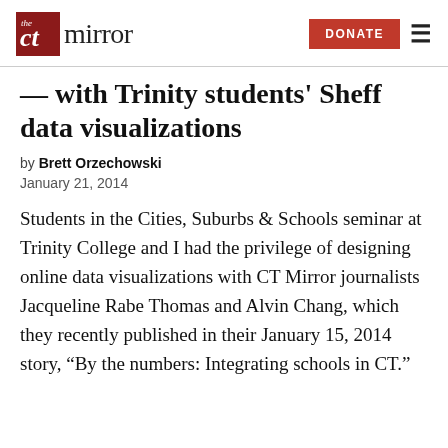the ct mirror  DONATE
— with Trinity students' Sheff data visualizations
by Brett Orzechowski
January 21, 2014
Students in the Cities, Suburbs & Schools seminar at Trinity College and I had the privilege of designing online data visualizations with CT Mirror journalists Jacqueline Rabe Thomas and Alvin Chang, which they recently published in their January 15, 2014 story, “By the numbers: Integrating schools in CT.”